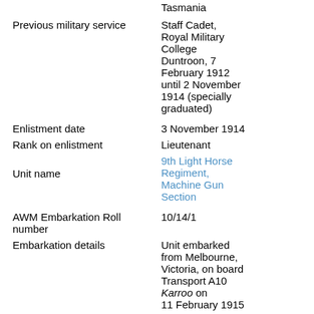Tasmania
Previous military service
Staff Cadet, Royal Military College Duntroon, 7 February 1912 until 2 November 1914 (specially graduated)
Enlistment date
3 November 1914
Rank on enlistment
Lieutenant
Unit name
9th Light Horse Regiment, Machine Gun Section
AWM Embarkation Roll number
10/14/1
Embarkation details
Unit embarked from Melbourne, Victoria, on board Transport A10 Karroo on 11 February 1915